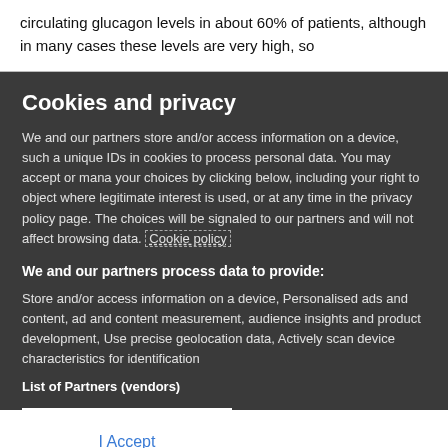circulating glucagon levels in about 60% of patients, although in many cases these levels are very high, so
Cookies and privacy
We and our partners store and/or access information on a device, such as unique IDs in cookies to process personal data. You may accept or manage your choices by clicking below, including your right to object where legitimate interest is used, or at any time in the privacy policy page. These choices will be signaled to our partners and will not affect browsing data. Cookie policy
We and our partners process data to provide:
Store and/or access information on a device, Personalised ads and content, ad and content measurement, audience insights and product development, Use precise geolocation data, Actively scan device characteristics for identification
List of Partners (vendors)
I Accept